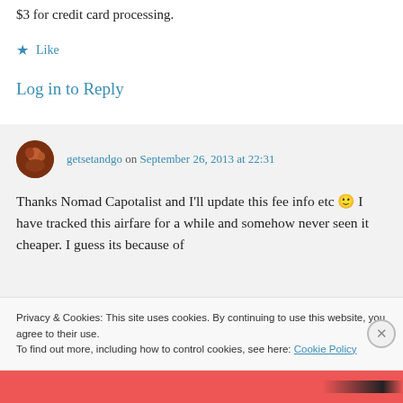$3 for credit card processing.
★ Like
Log in to Reply
getsetandgo on September 26, 2013 at 22:31
Thanks Nomad Capotalist and I'll update this fee info etc 🙂 I have tracked this airfare for a while and somehow never seen it cheaper. I guess its because of
Privacy & Cookies: This site uses cookies. By continuing to use this website, you agree to their use.
To find out more, including how to control cookies, see here: Cookie Policy
Close and accept